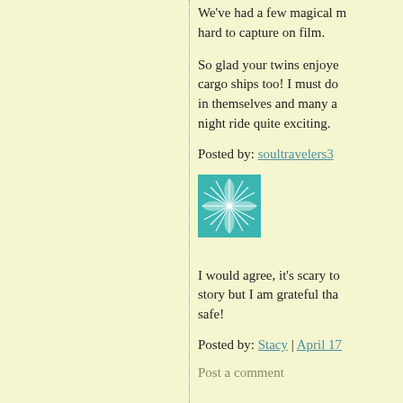We've had a few magical moments hard to capture on film.
So glad your twins enjoyed the cargo ships too! I must do in themselves and many a night ride quite exciting.
Posted by: soultravelers3
[Figure (illustration): Teal/turquoise square avatar image with a starburst or leaf pattern in white]
I would agree, it's scary to story but I am grateful tha safe!
Posted by: Stacy | April 17
Post a comment